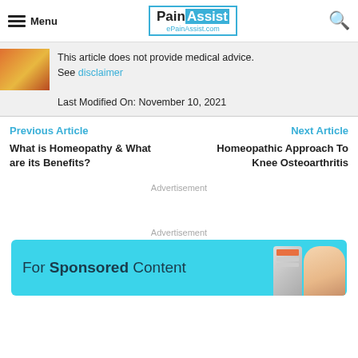Menu | PainAssist ePainAssist.com
This article does not provide medical advice. See disclaimer
Last Modified On: November 10, 2021
Previous Article
Next Article
What is Homeopathy & What are its Benefits?
Homeopathic Approach To Knee Osteoarthritis
Advertisement
Advertisement
[Figure (infographic): Advertisement banner with cyan background reading 'For Sponsored Content' with a phone and hand graphic]